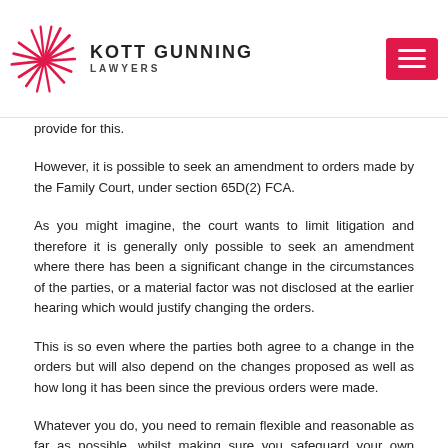KOTT GUNNING LAWYERS
provide for this.
However, it is possible to seek an amendment to orders made by the Family Court, under section 65D(2) FCA.
As you might imagine, the court wants to limit litigation and therefore it is generally only possible to seek an amendment where there has been a significant change in the circumstances of the parties, or a material factor was not disclosed at the earlier hearing which would justify changing the orders.
This is so even where the parties both agree to a change in the orders but will also depend on the changes proposed as well as how long it has been since the previous orders were made.
Whatever you do, you need to remain flexible and reasonable as far as possible, whilst making sure you safeguard your own position in case problems crop up further down the track.